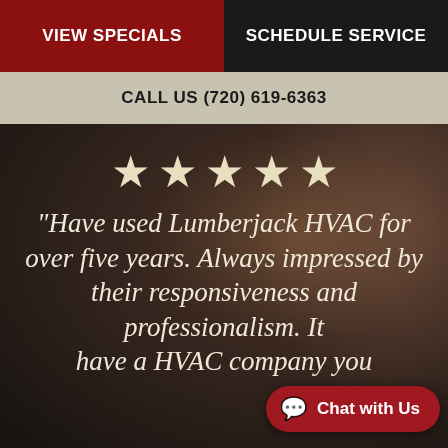VIEW SPECIALS | SCHEDULE SERVICE
CALL US (720) 619-6363
[Figure (other): Dark background photo of HVAC technician working, with 5 white/cream star rating icons overlaid at top, and large italic testimonial text: "Have used Lumberjack HVAC for over five years. Always impressed by their responsiveness and professionalism. It have a HVAC company you"]
Chat with Us